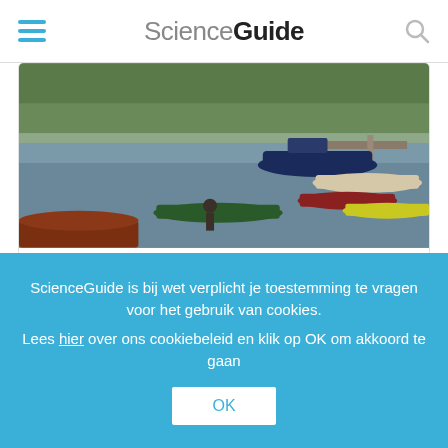ScienceGuide
[Figure (photo): Photograph of a lake with several small boats moored at a dock, with trees and a building in the background. A person is visible in the foreground near a red boat.]
qz.com
Finland has a migration crisis, too: Smart, young professionals are moving out
3:45 p.m. - 28 jun. 2017
ScienceGuide is bij wet verplicht je toestemming te vragen voor het gebruik van cookies.
Lees hier over ons cookiebeleid en klik op OK om akkoord te gaan